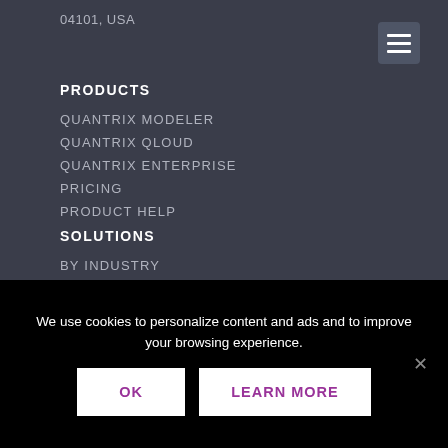04101, USA
PRODUCTS
QUANTRIX MODELER
QUANTRIX QLOUD
QUANTRIX ENTERPRISE
PRICING
PRODUCT HELP
SOLUTIONS
BY INDUSTRY
BY USE CASE
RESOURCES
BROCHURES
CASE STUDIES
EXAMPLE MODELS
We use cookies to personalize content and ads and to improve your browsing experience.
OK
LEARN MORE